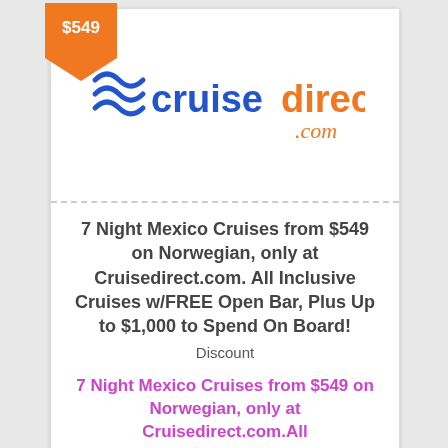[Figure (logo): Orange price tag badge showing $549 in white bold text on orange triangular/pennant shape]
[Figure (logo): CruiseDirect.com logo: blue wave icon on left, 'cruise' in blue bold text, 'direct' in orange bold text, '.com' in orange italic text below]
7 Night Mexico Cruises from $549 on Norwegian, only at Cruisedirect.com. All Inclusive Cruises w/FREE Open Bar, Plus Up to $1,000 to Spend On Board!
Discount
7 Night Mexico Cruises from $549 on Norwegian, only at Cruisedirect.com.All